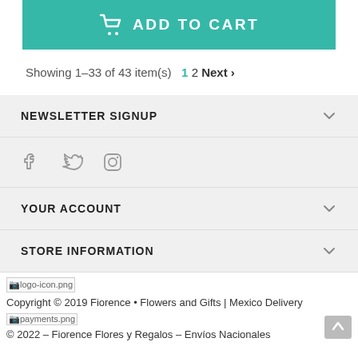[Figure (screenshot): Teal Add to Cart button with shopping cart icon]
Showing 1–33 of 43 item(s)  1 2 Next >
NEWSLETTER SIGNUP
[Figure (illustration): Social media icons: Facebook, Twitter, Instagram]
YOUR ACCOUNT
STORE INFORMATION
[logo-icon.png] Copyright © 2019 Fiorence • Flowers and Gifts | Mexico Delivery
[payments.png] © 2022 – Fiorence Flores y Regalos – Envíos Nacionales